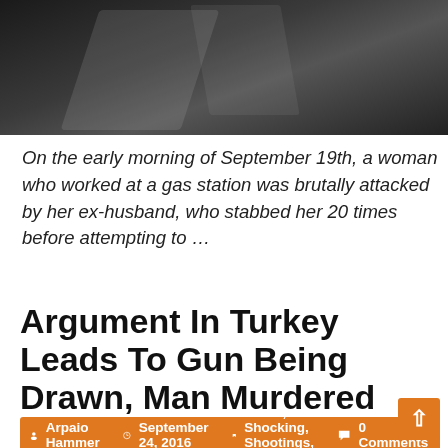[Figure (photo): Dark grainy security camera footage showing what appears to be legs or figures near an escalator or stairway in low light]
On the early morning of September 19th, a woman who worked at a gas station was brutally attacked by her ex-husband, who stabbed her 20 times before attempting to …
Argument In Turkey Leads To Gun Being Drawn, Man Murdered
Arpaio Hammer  September 24, 2016  Crime, Shocking, Shootings, Videos  0 Comments
[Figure (photo): Dark security camera footage labeled ERA04 showing a chaotic scene with people and objects, appears to be an altercation]